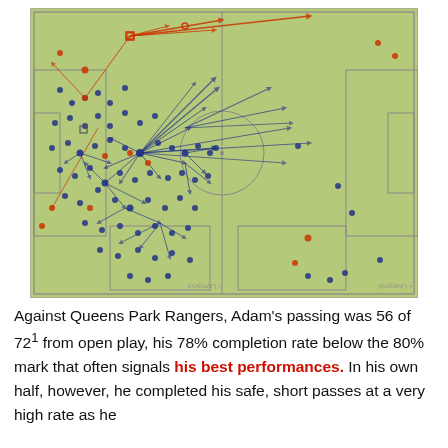[Figure (other): Football passing map diagram on a green pitch. Left half is densely populated with blue (completed) and red (incomplete) pass arrows mostly in the defensive/midfield zone of the left half. Right half of the pitch has sparse dots. Pitch markings include penalty areas, centre circle, and halfway line. Liverpool watermark visible bottom right of each half.]
Against Queens Park Rangers, Adam's passing was 56 of 72¹ from open play, his 78% completion rate below the 80% mark that often signals his best performances. In his own half, however, he completed his safe, short passes at a very high rate as he